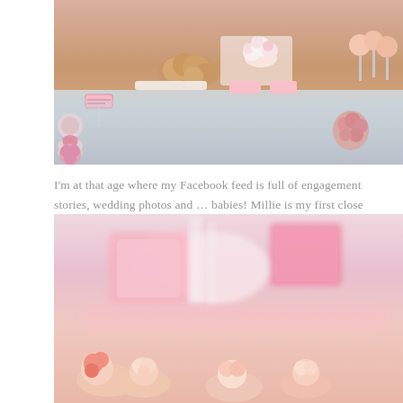[Figure (photo): Overhead view of a dessert table with cupcakes, cookies, cake pops, and other pink-themed sweets arranged on platters with decorative labels]
I'm at that age where my Facebook feed is full of engagement stories, wedding photos and … babies! Millie is my first close friend to be expecting and this past weekend, a few of us former bridesmaids organized a Hello Kitty themed baby shower to celebrate her upcoming baby girl. We each divided the roles based on what we were interested in: Norma and Alison wanted to make a diaper cake and I was excited to make a full-on coordinated dessert table!
[Figure (photo): Close-up blurred photo of pink Hello Kitty themed baby shower dessert items including pink boxes, ribbon, and rose-shaped cupcakes]